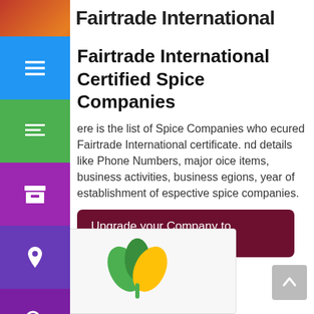Fairtrade International
Fairtrade International Certified Spice Companies
Here is the list of Spice Companies who secured Fairtrade International certificate. And details like Phone Numbers, major spice items, business activities, business regions, year of establishment of respective spice companies.
Upgrade your Company to Featured Listing →
[Figure (logo): Green and yellow leaf logo for a spice company listing card]